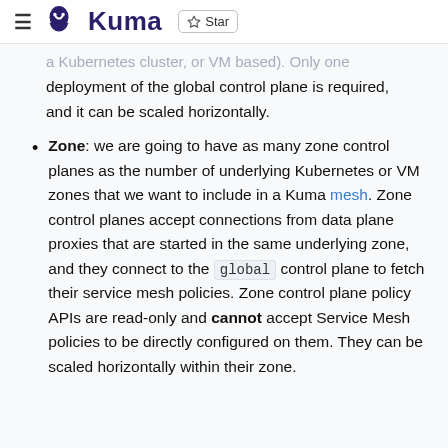Kuma — Star
a Kubernetes cluster, or VM based). Only one deployment of the global control plane is required, and it can be scaled horizontally.
Zone: we are going to have as many zone control planes as the number of underlying Kubernetes or VM zones that we want to include in a Kuma mesh. Zone control planes accept connections from data plane proxies that are started in the same underlying zone, and they connect to the global control plane to fetch their service mesh policies. Zone control plane policy APIs are read-only and cannot accept Service Mesh policies to be directly configured on them. They can be scaled horizontally within their zone.